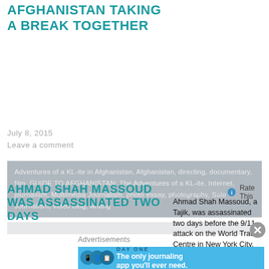AFGHANISTAN TAKING A BREAK TOGETHER
July 8, 2015
Leave a comment
Adventures of a KL-ite in Afghanistan, Afghanistan, directing, documentary, film, GUIDE TO AFGHANISTAN: The Adventures of a KL-ite, Internet, journalism, Multimedia Journalism, photo essay, photography, Solo Journalism, video blog, writing
AHMAD SHAH MASSOUD WAS ASSASSINATED TWO DAYS
Rate This
Ahmad Shah Massoud, a Tajik, was assassinated two days before the 9/11 attack on the World Trade Centre in New York City. So many Afghans see h
Advertisements
[Figure (infographic): Day One journaling app advertisement banner on blue background with icon and tagline 'The only journaling app you'll ever need.']